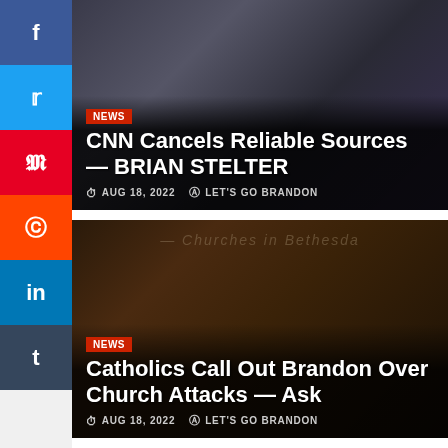[Figure (screenshot): Social media share sidebar with Facebook, Twitter, Pinterest, Reddit, LinkedIn, and Tumblr buttons]
[Figure (photo): Article card 1: man in suit gesturing, dark office background - news article about CNN canceling Reliable Sources and Brian Stelter]
CNN Cancels Reliable Sources — BRIAN STELTER
AUG 18, 2022   LET'S GO BRANDON
[Figure (photo): Article card 2: dark dramatic photo with fire/debris - news article about Catholics calling out Brandon over church attacks]
Catholics Call Out Brandon Over Church Attacks — Ask
AUG 18, 2022   LET'S GO BRANDON